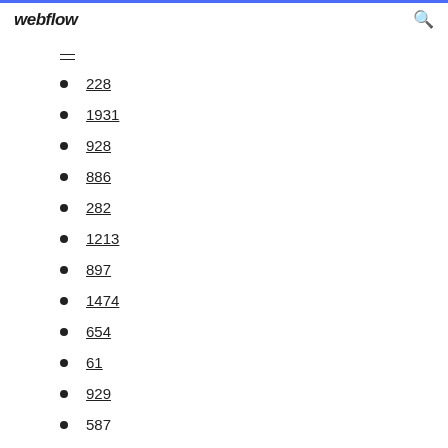webflow
228
1931
928
886
282
1213
897
1474
654
61
929
587